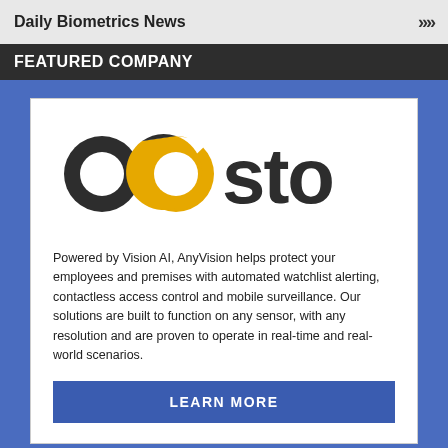Daily Biometrics News >>>
FEATURED COMPANY
[Figure (logo): Oosto company logo — stylized text 'oosto' where the two o's form circular rings and the second 'o' is rendered in gold/orange color]
Powered by Vision AI, AnyVision helps protect your employees and premises with automated watchlist alerting, contactless access control and mobile surveillance. Our solutions are built to function on any sensor, with any resolution and are proven to operate in real-time and real-world scenarios.
LEARN MORE
More Biometrics Companies >>>
BIOMETRICS RESEARCH